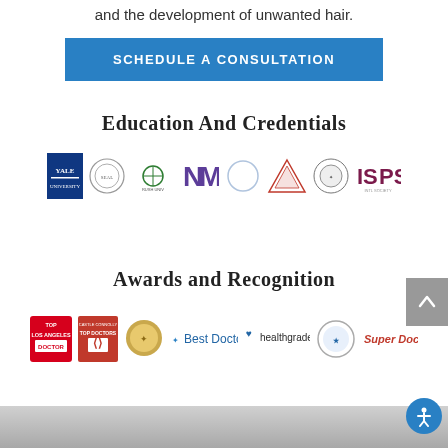and the development of unwanted hair.
SCHEDULE A CONSULTATION
Education and Credentials
[Figure (logo): Row of educational institution and medical society logos: Yale, university seal, Rush University Medical Center, NM (Northwestern Medicine), American Society of Plastic Surgeons, a triangle logo, another seal, and ISPS logo]
Awards and Recognition
[Figure (logo): Row of award logos: Top Doctor, Castle Connolly Top Doctors, a gold medallion award, Best Doctors, Healthgrades, a circular award badge, and Super Doctors]